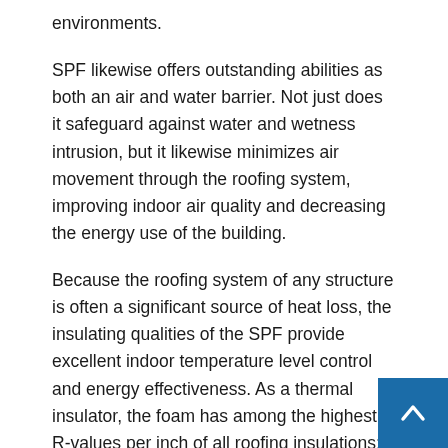environments.
SPF likewise offers outstanding abilities as both an air and water barrier. Not just does it safeguard against water and wetness intrusion, but it likewise minimizes air movement through the roofing system, improving indoor air quality and decreasing the energy use of the building.
Because the roofing system of any structure is often a significant source of heat loss, the insulating qualities of the SPF provide excellent indoor temperature level control and energy effectiveness. As a thermal insulator, the foam has among the highest R-values per inch of all roofing insulations; because spray foam is totally adhered, there are no thermal shunts from fasteners. Keeping warmth in the building during cooler months and heat out in hotter months, the foam reduces heating and cooling demands, reducing energy expenses for the life of the item, which independent